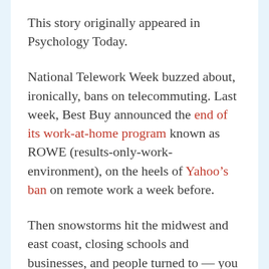This story originally appeared in Psychology Today.
National Telework Week buzzed about, ironically, bans on telecommuting. Last week, Best Buy announced the end of its work-at-home program known as ROWE (results-only-work-environment), on the heels of Yahoo’s ban on remote work a week before.
Then snowstorms hit the midwest and east coast, closing schools and businesses, and people turned to — you guessed it — teleworking to stay productive and safe. When the snow melts, will the backlash against